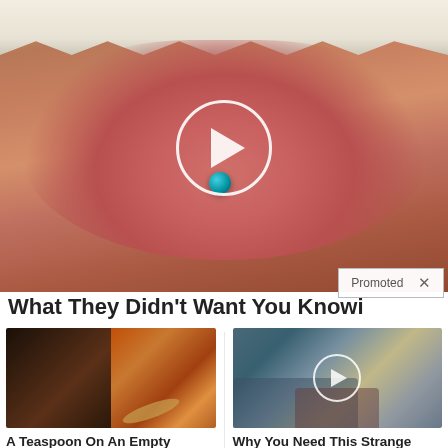[Figure (photo): Close-up photo of an open mouth with tongue out, a small blue pill/tablet resting on the tongue, with a white play button circle overlay in the center]
Promoted  ×
What They Didn't Want You Knowi
[Figure (photo): Composite image showing a fit woman with abs on the left and a spoon with spices/powder on the right]
A Teaspoon On An Empty Stomach Burns Fat Like Crazy!
🔥 151,532
[Figure (photo): Street scene with parked cars and people walking, with a white play button circle overlay]
Why You Need This Strange Device When The Grid Goes Down
🔥 7,847